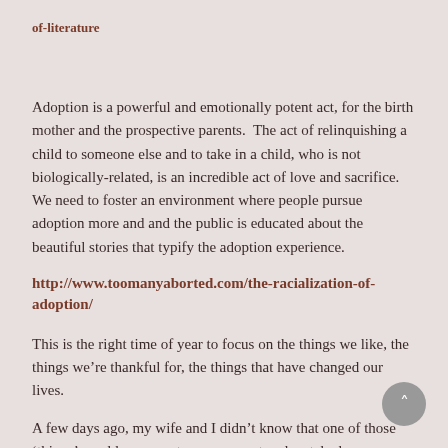of-literature
Adoption is a powerful and emotionally potent act, for the birth mother and the prospective parents.  The act of relinquishing a child to someone else and to take in a child, who is not biologically-related, is an incredible act of love and sacrifice.  We need to foster an environment where people pursue adoption more and and the public is educated about the beautiful stories that typify the adoption experience.
http://www.toomanyaborted.com/the-racialization-of-adoption/
This is the right time of year to focus on the things we like, the things we’re thankful for, the things that have changed our lives.
A few days ago, my wife and I didn’t know that one of those ‘things’ would cause us tears as we sat and watched an incredibly powerful short